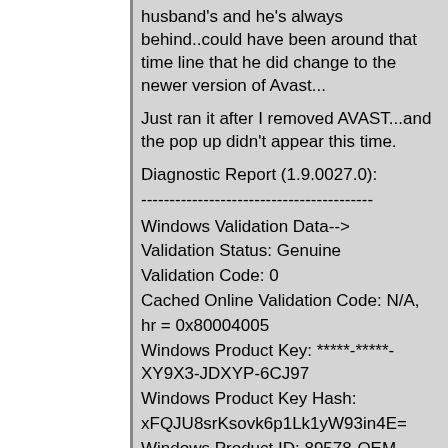husband's and he's always behind..could have been around that time line that he did change to the newer version of Avast...
Just ran it after I removed AVAST...and the pop up didn't appear this time.
Diagnostic Report (1.9.0027.0):
-----------------------------------------
Windows Validation Data-->
Validation Status: Genuine
Validation Code: 0
Cached Online Validation Code: N/A, hr = 0x80004005
Windows Product Key: *****-*****-XY9X3-JDXYP-6CJ97
Windows Product Key Hash: xFQJU8srKsovk6p1Lk1yW93in4E=
Windows Product ID: 89578-OEM-7332157-00211
Windows Product ID Type: 2
Windows License Type: OEM SLP
Windows OS version: 6.0.6000.2.00010300.0.0.003
ID: {31AFBDD0-A0D0-4126-BFB4-34436800DD7B}(3)